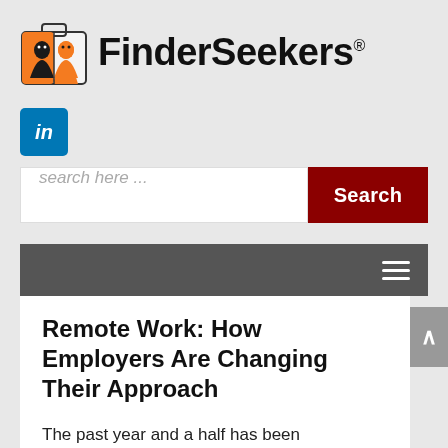[Figure (logo): FinderSeekers logo with briefcase icon containing silhouettes of two faces]
[Figure (illustration): LinkedIn square blue button with 'in' text]
search here ...
Search
[Figure (illustration): Dark gray navigation bar with hamburger menu icon on right]
Remote Work: How Employers Are Changing Their Approach
The past year and a half has been revolutionary for the world of remote work. Many companies that never thought they'd be able to function with out-of-office workers...